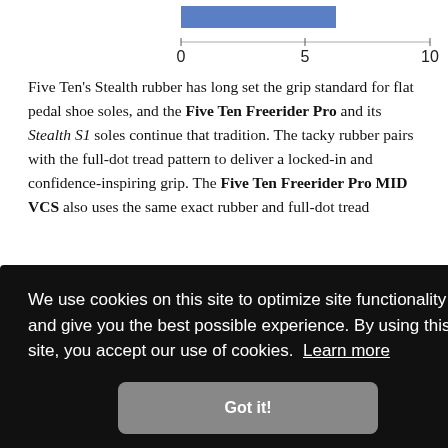[Figure (bar-chart): ]
Five Ten's Stealth rubber has long set the grip standard for flat pedal shoe soles, and the Five Ten Freerider Pro and its Stealth S1 soles continue that tradition. The tacky rubber pairs with the full-dot tread pattern to deliver a locked-in and confidence-inspiring grip. The Five Ten Freerider Pro MID VCS also uses the same exact rubber and full-dot tread
We use cookies on this site to optimize site functionality and give you the best possible experience. By using this site, you accept our use of cookies. Learn more
Got it!